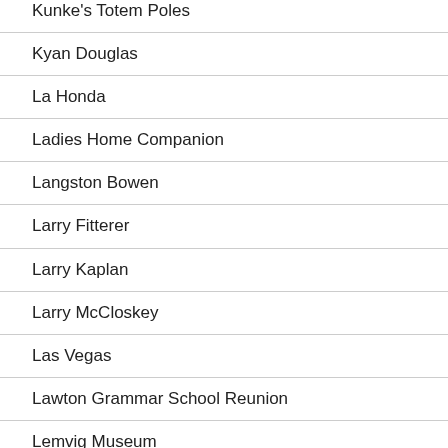Kunke's Totem Poles
Kyan Douglas
La Honda
Ladies Home Companion
Langston Bowen
Larry Fitterer
Larry Kaplan
Larry McCloskey
Las Vegas
Lawton Grammar School Reunion
Lemvig Museum
Lone Parks